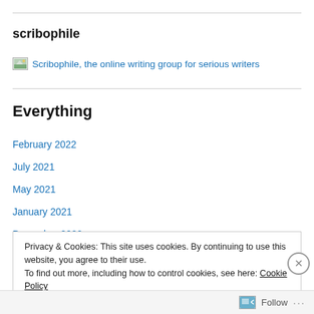scribophile
[Figure (illustration): Placeholder image icon followed by link text: Scribophile, the online writing group for serious writers]
Everything
February 2022
July 2021
May 2021
January 2021
December 2020
Privacy & Cookies: This site uses cookies. By continuing to use this website, you agree to their use.
To find out more, including how to control cookies, see here: Cookie Policy